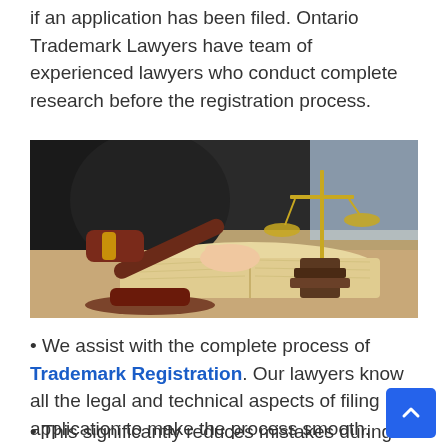if an application has been filed. Ontario Trademark Lawyers have team of experienced lawyers who conduct complete research before the registration process.
[Figure (photo): A person in black legal robes reading a large open book with a wooden gavel and golden balance scales on the desk]
• We assist with the complete process of Trademark Registration. Our lawyers know all the legal and technical aspects of filing application to make the process smooth.
• This significantly reduces mistakes during